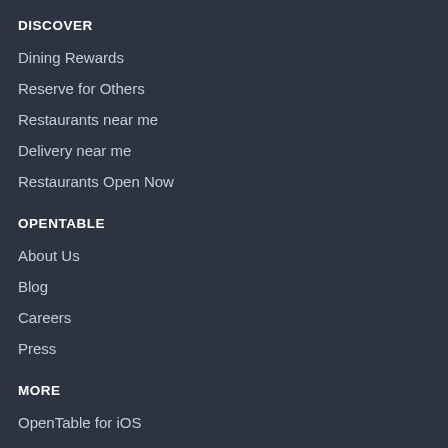DISCOVER
Dining Rewards
Reserve for Others
Restaurants near me
Delivery near me
Restaurants Open Now
OPENTABLE
About Us
Blog
Careers
Press
MORE
OpenTable for iOS
OpenTable for Android
Affiliate Programme
Contact Us